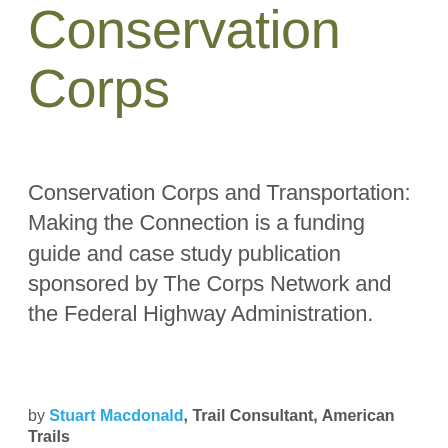Conservation Corps
Conservation Corps and Transportation: Making the Connection is a funding guide and case study publication sponsored by The Corps Network and the Federal Highway Administration.
by Stuart Macdonald, Trail Consultant, American Trails